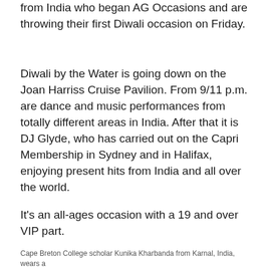from India who began AG Occasions and are throwing their first Diwali occasion on Friday.
Diwali by the Water is going down on the Joan Harriss Cruise Pavilion. From 9/11 p.m. are dance and music performances from totally different areas in India. After that it is DJ Glyde, who has carried out on the Capri Membership in Sydney and in Halifax, enjoying present hits from India and all over the world.
It's an all-ages occasion with a 19 and over VIP part.
Cape Breton College scholar Kunika Kharbanda from Karnal, India, wears a